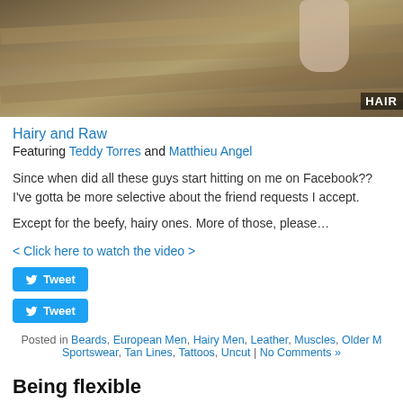[Figure (photo): Cropped photo showing a wooden floor with a person's bare foot visible, watermark text 'HAIR' in bottom right corner]
Hairy and Raw
Featuring Teddy Torres and Matthieu Angel
Since when did all these guys start hitting on me on Facebook?? I've gotta be more selective about the friend requests I accept.
Except for the beefy, hairy ones. More of those, please…
< Click here to watch the video >
Tweet
Tweet
Posted in Beards, European Men, Hairy Men, Leather, Muscles, Older M…, Sportswear, Tan Lines, Tattoos, Uncut | No Comments »
Being flexible
Tuesday, October 24th, 2017